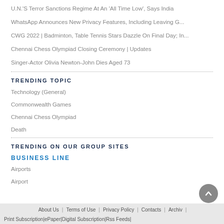U.N.'S Terror Sanctions Regime At An 'All Time Low', Says India
WhatsApp Announces New Privacy Features, Including Leaving G...
CWG 2022 | Badminton, Table Tennis Stars Dazzle On Final Day; In...
Chennai Chess Olympiad Closing Ceremony | Updates
Singer-Actor Olivia Newton-John Dies Aged 73
TRENDING TOPIC
Technology (General)
Commonwealth Games
Chennai Chess Olympiad
Death
TRENDING ON OUR GROUP SITES
BUSINESS LINE
Airports
Airport
About Us | Terms of Use | Privacy Policy | Contacts | Archives | Print Subscription | ePaper | Digital Subscription | Rss Feeds |